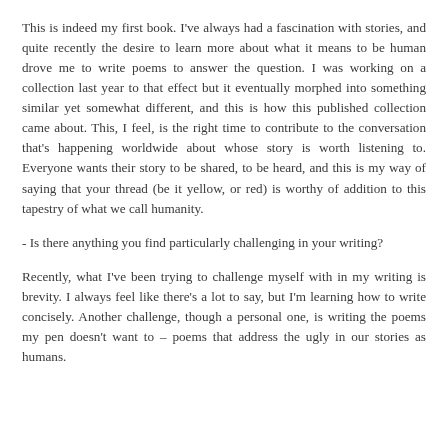This is indeed my first book. I've always had a fascination with stories, and quite recently the desire to learn more about what it means to be human drove me to write poems to answer the question. I was working on a collection last year to that effect but it eventually morphed into something similar yet somewhat different, and this is how this published collection came about. This, I feel, is the right time to contribute to the conversation that's happening worldwide about whose story is worth listening to. Everyone wants their story to be shared, to be heard, and this is my way of saying that your thread (be it yellow, or red) is worthy of addition to this tapestry of what we call humanity.
- Is there anything you find particularly challenging in your writing?
Recently, what I've been trying to challenge myself with in my writing is brevity. I always feel like there's a lot to say, but I'm learning how to write concisely. Another challenge, though a personal one, is writing the poems my pen doesn't want to – poems that address the ugly in our stories as humans.